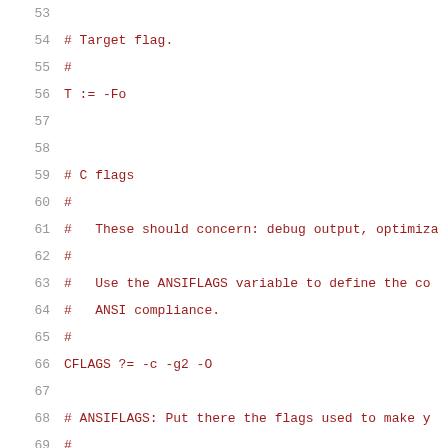53
54  # Target flag.
55  #
56  T := -Fo
57
58
59  # C flags
60  #
61  #   These should concern: debug output, optimiza
62  #
63  #   Use the ANSIFLAGS variable to define the co
64  #   ANSI compliance.
65  #
66  CFLAGS ?= -c -g2 -O
67
68  # ANSIFLAGS: Put there the flags used to make y
69  #
70  #  LCC is pure ANSI anyway!
71  #
72  ANSIFLAGS :=
73
74